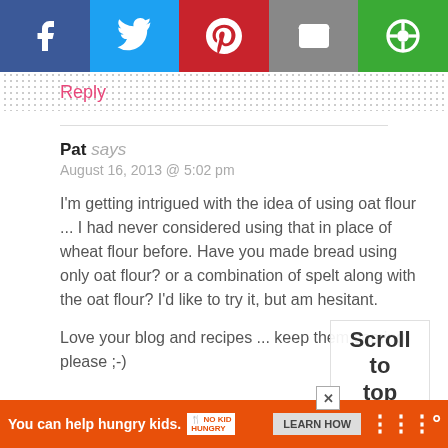[Figure (infographic): Social share bar with Facebook, Twitter, Pinterest, Email, and a fifth share button]
Reply
Pat says
August 16, 2013 @ 5:02 pm
I'm getting intrigued with the idea of using oat flour ... I had never considered using that in place of wheat flour before. Have you made bread using only oat flour? or a combination of spelt along with the oat flour? I'd like to try it, but am hesitant.
Love your blog and recipes ... keep them coming, please ;-)
Scroll to top
You can help hungry kids. NOKID HUNGRY LEARN HOW